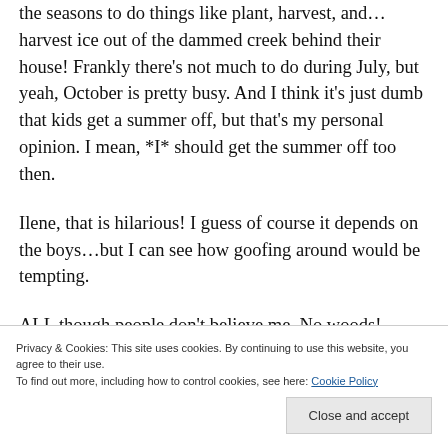the seasons to do things like plant, harvest, and…harvest ice out of the dammed creek behind their house! Frankly there's not much to do during July, but yeah, October is pretty busy. And I think it's just dumb that kids get a summer off, but that's my personal opinion. I mean, *I* should get the summer off too then.
Ilene, that is hilarious! I guess of course it depends on the boys…but I can see how goofing around would be tempting.
ALL though people don't believe me. No woods!
Privacy & Cookies: This site uses cookies. By continuing to use this website, you agree to their use. To find out more, including how to control cookies, see here: Cookie Policy